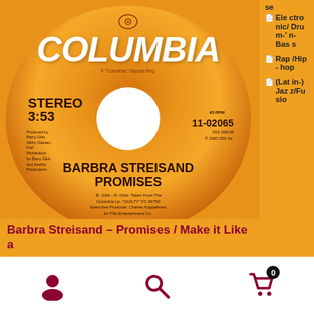[Figure (photo): Columbia Records 45 RPM vinyl single label for Barbra Streisand - Promises, catalog number 11-02065, stereo 3:53, produced by Barry Gibb, Albhy Galuten, Karl Richardson for Barry Gibb and Karithy Productions. Credits: B. Gibb - R. Gibb - Taken From The Columbia Lp: GUILTY FC 36750, Executive Producer Charles Koppelman for The Entertainment Co.]
Electronic/Drum-'n-Bass
Rap/Hip-hop
(Latin-) Jazz/Fu...
Barbra Streisand – Promises / Make it Like a ...
[Figure (infographic): Bottom navigation bar with user account icon, search icon, and shopping cart icon with badge showing 0]